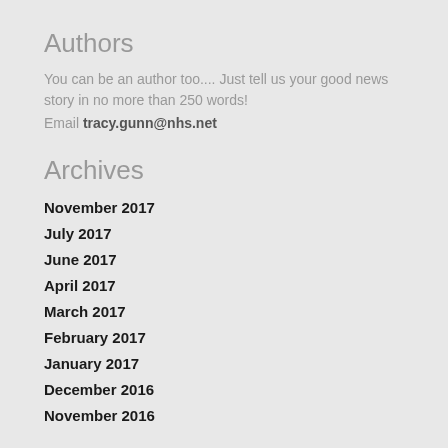Authors
You can be an author too.... Just tell us your good news story in no more than 250 words!
Email tracy.gunn@nhs.net
Archives
November 2017
July 2017
June 2017
April 2017
March 2017
February 2017
January 2017
December 2016
November 2016
Categories
All